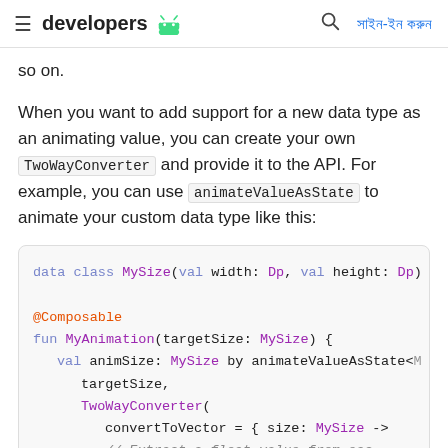developers [android icon] | [search] | সাইন-ইন করুন
so on.
When you want to add support for a new data type as an animating value, you can create your own TwoWayConverter and provide it to the API. For example, you can use animateValueAsState to animate your custom data type like this:
[Figure (screenshot): Code block showing Kotlin code: data class MySize, @Composable fun MyAnimation with animateValueAsState and TwoWayConverter usage]